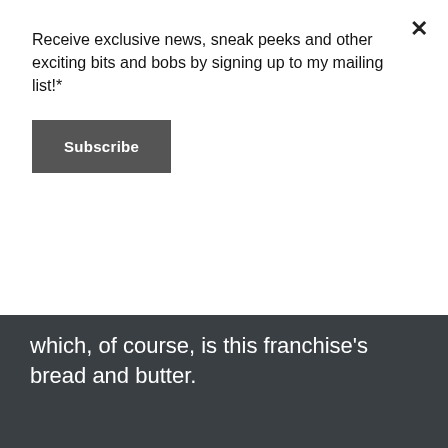Receive exclusive news, sneak peeks and other exciting bits and bobs by signing up to my mailing list!*
Subscribe
which, of course, is this franchise's bread and butter.
Caught in the centre of the chaos is Sam (Nicholas D'Agosta), this entry's resident premonition-haver. While he's on his way to a team building weekend with his co-workers, Sam forsees their icky fates as a suspension bridge collapses and drags everybody to their deaths. Duly avoiding the catastrophe, Sam saves his on-off girlfriend Molly (Emma Bell) and a handful of their co-workers –